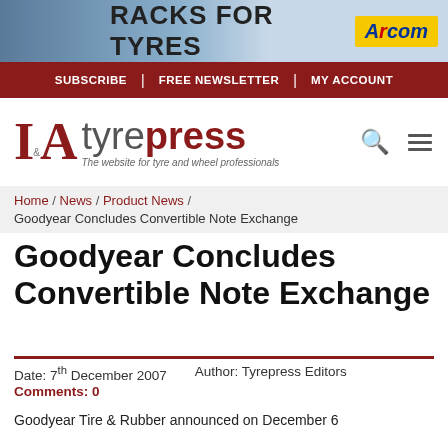[Figure (photo): Advertisement banner for Arcom Racks for Tyres. Left side shows shelving/rack photo. Center has bold text RACKS FOR TYRES. Right side has yellow Arcom logo box.]
SUBSCRIBE | FREE NEWSLETTER | MY ACCOUNT
[Figure (logo): IA Tyrepress logo with tagline 'The website for tyre and wheel professionals'. Search and menu icons on right.]
Home / News / Product News / Goodyear Concludes Convertible Note Exchange
Goodyear Concludes Convertible Note Exchange
Date: 7th December 2007    Author: Tyrepress Editors
Comments: 0
Goodyear Tire & Rubber announced on December 6